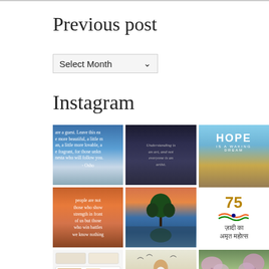Previous post
Select Month
Instagram
[Figure (photo): Quote image on blue landscape background: 'are a guest. Leave this ea... more beautiful, a little m... n, a little more lovable, a... e fragrant, for those unkn... nesta who will follow you. - Osho']
[Figure (photo): Dark clouds background with italic quote: 'Understanding is an art, and not everyone is an artist']
[Figure (photo): HOPE IS A WAKING DREAM - woman in golden field with blue sky]
[Figure (photo): Quote on sunset/orange background: 'The strongest people are not those who show strength in front of us but those who win battles we know nothing about']
[Figure (photo): Tree reflected in water with mountain sunset background]
[Figure (photo): Azadi Ka Amrit Mahotsav - 75 years Indian independence celebration with Indian flag colors]
[Figure (infographic): Infographic or diagram with boxes and charts]
[Figure (illustration): Illustration of a saint/sage with birds, text: 'Be grateful to... those who helped... meet yourself']
[Figure (photo): Cherry blossom / flowering trees along a path]